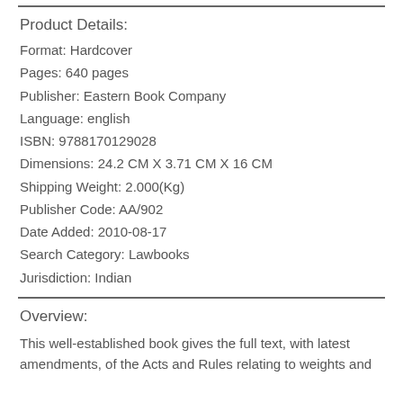Product Details:
Format: Hardcover
Pages: 640 pages
Publisher: Eastern Book Company
Language: english
ISBN: 9788170129028
Dimensions: 24.2 CM X 3.71 CM X 16 CM
Shipping Weight: 2.000(Kg)
Publisher Code: AA/902
Date Added: 2010-08-17
Search Category: Lawbooks
Jurisdiction: Indian
Overview:
This well-established book gives the full text, with latest amendments, of the Acts and Rules relating to weights and